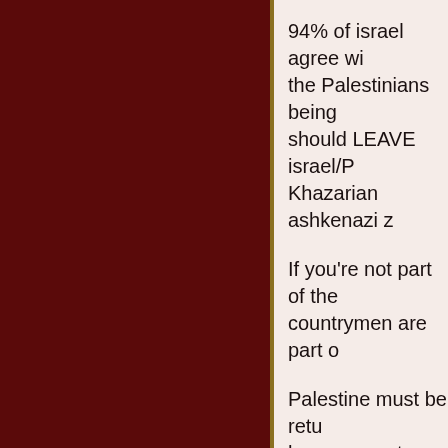94% of israel agree wi... the Palestinians being... should LEAVE israel/P... Khazarian ashkenazi z...
If you're not part of the... countrymen are part o...
Palestine must be retu... have one vote. The ap...
If your leaders are the...
By staying you are par...
I am  [Scroll to Top]  t...